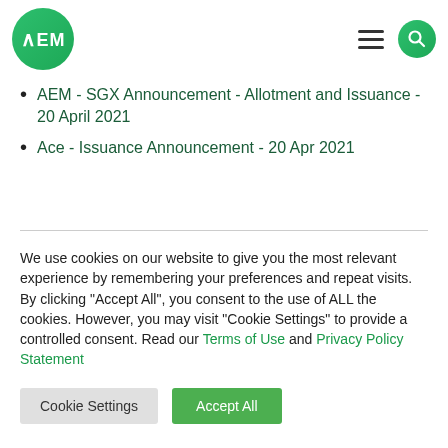[Figure (logo): AEM company logo — green circle with white AEM text]
AEM - SGX Announcement - Allotment and Issuance - 20 April 2021
Ace - Issuance Announcement - 20 Apr 2021
We use cookies on our website to give you the most relevant experience by remembering your preferences and repeat visits. By clicking “Accept All”, you consent to the use of ALL the cookies. However, you may visit “Cookie Settings” to provide a controlled consent. Read our Terms of Use and Privacy Policy Statement